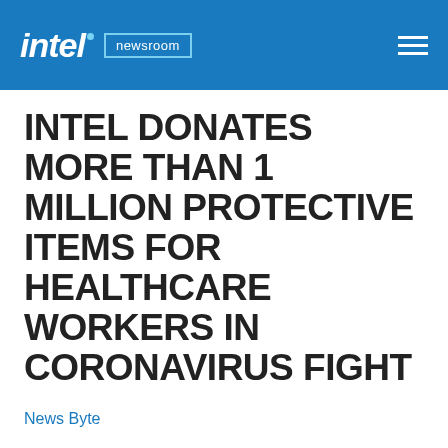intel. newsroom
INTEL DONATES MORE THAN 1 MILLION PROTECTIVE ITEMS FOR HEALTHCARE WORKERS IN CORONAVIRUS FIGHT
News Byte
March 23, 2020
[Figure (other): Social sharing icons: Facebook, Twitter, Email]